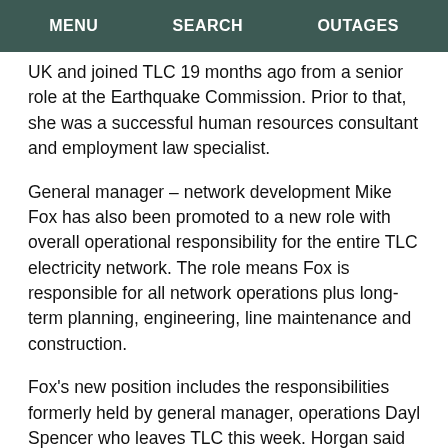MENU   SEARCH   OUTAGES
UK and joined TLC 19 months ago from a senior role at the Earthquake Commission. Prior to that, she was a successful human resources consultant and employment law specialist.
General manager – network development Mike Fox has also been promoted to a new role with overall operational responsibility for the entire TLC electricity network. The role means Fox is responsible for all network operations plus long-term planning, engineering, line maintenance and construction.
Fox's new position includes the responsibilities formerly held by general manager, operations Dayl Spencer who leaves TLC this week. Horgan said combining the two senior roles was likely to drive further change in the organisation.
“I appreciate that might be unsettling for network staff in particular but we have got to get the structure right so we will be working through a process and making sure the right decisions are made,” he said.